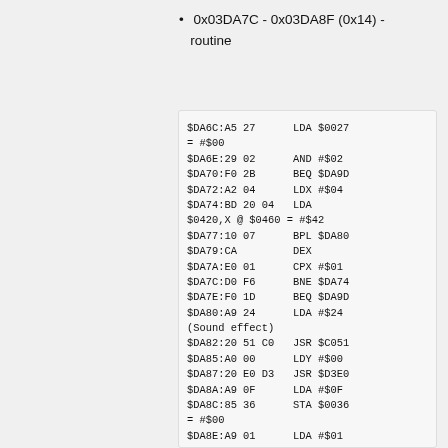0x03DA7C - 0x03DA8F (0x14) - routine
$DA6C:A5 27      LDA $0027
= #$00
$DA6E:29 02      AND #$02
$DA70:F0 2B      BEQ $DA9D
$DA72:A2 04      LDX #$04
$DA74:BD 20 04   LDA
$0420,X @ $0460 = #$42
$DA77:10 07      BPL $DA80
$DA79:CA         DEX
$DA7A:E0 01      CPX #$01
$DA7C:D0 F6      BNE $DA74
$DA7E:F0 1D      BEQ $DA9D
$DA80:A9 24      LDA #$24
(Sound effect)
$DA82:20 51 C0   JSR $C051
$DA85:A0 00      LDY #$00
$DA87:20 E0 D3   JSR $D3E0
$DA8A:A9 0F      LDA #$0F
$DA8C:85 36      STA $0036
= #$00
$DA8E:A9 01      LDA #$01